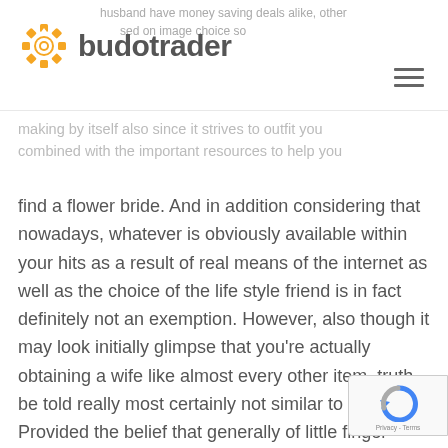budotrader
husband have money saving deals alike, other based on image choice so
making by itself also since it strives to outfit you combined with the important resources to help you find a flower bride. And in addition considering that nowadays, whatever is obviously available within your hits as a result of real means of the internet as well as the choice of the life style friend is in fact definitely not an exemption. However, also though it may look initially glimpse that you’re actually obtaining a wife like almost every other item, truth be told really most certainly not similar to this. Provided the belief that generally of little finger virtually any mail-order bride is due to a straining nation, you will be really certainly likely to cope with all of the expenses of her journeying for your requirements. Nevertheless, your partnership is in fact additional advanced as well as involve